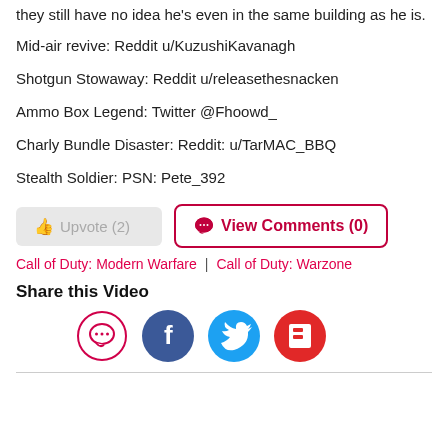they still have no idea he's even in the same building as he is.
Mid-air revive: Reddit u/KuzushiKavanagh
Shotgun Stowaway: Reddit u/releasethesnacken
Ammo Box Legend: Twitter @Fhoowd_
Charly Bundle Disaster: Reddit: u/TarMAC_BBQ
Stealth Soldier: PSN: Pete_392
[Figure (other): Upvote (2) button and View Comments (0) button]
Call of Duty: Modern Warfare | Call of Duty: Warzone
Share this Video
[Figure (other): Social share icons: comment bubble, Facebook, Twitter, Flipboard]